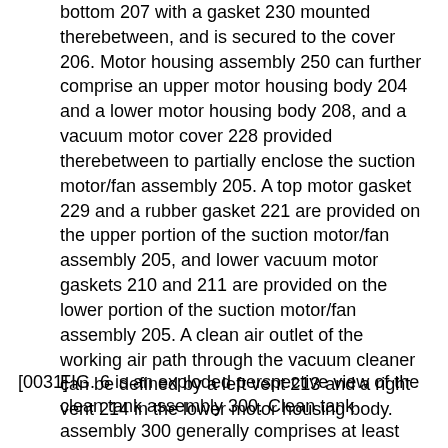bottom 207 with a gasket 230 mounted therebetween, and is secured to the cover 206. Motor housing assembly 250 can further comprise an upper motor housing body 204 and a lower motor housing body 208, and a vacuum motor cover 228 provided therebetween to partially enclose the suction motor/fan assembly 205. A top motor gasket 229 and a rubber gasket 221 are provided on the upper portion of the suction motor/fan assembly 205, and lower vacuum motor gaskets 210 and 211 are provided on the lower portion of the suction motor/fan assembly 205. A clean air outlet of the working air path through the vacuum cleaner can be defined by a left vent 213 and a right vent 214 in the lower motor housing body.
[0031] FIG. 6 is an exploded perspective view of the clean tank assembly 300. Clean tank assembly 300 generally comprises at least one supply tank 301 and a supply valve assembly 320 controlling fluid flow through an outlet 311 of the supply tank 301. Alternatively, clean tank assembly 300 can include multiple supply chambers, such as one